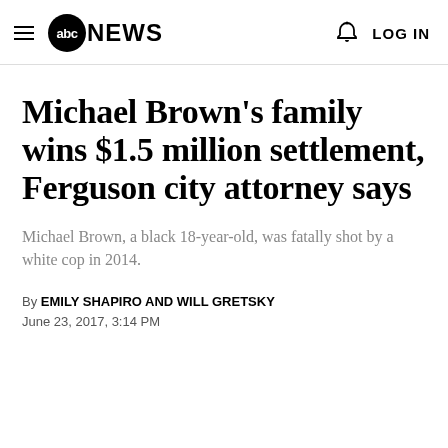abc NEWS  LOG IN
Michael Brown's family wins $1.5 million settlement, Ferguson city attorney says
Michael Brown, a black 18-year-old, was fatally shot by a white cop in 2014.
By EMILY SHAPIRO and WILL GRETSKY
June 23, 2017, 3:14 PM